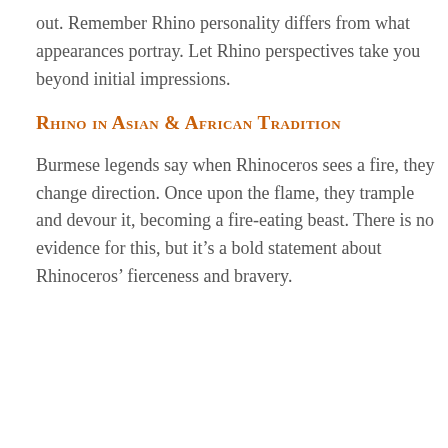out. Remember Rhino personality differs from what appearances portray. Let Rhino perspectives take you beyond initial impressions.
Rhino in Asian & African Tradition
Burmese legends say when Rhinoceros sees a fire, they change direction. Once upon the flame, they trample and devour it, becoming a fire-eating beast. There is no evidence for this, but it’s a bold statement about Rhinoceros’ fierceness and bravery.